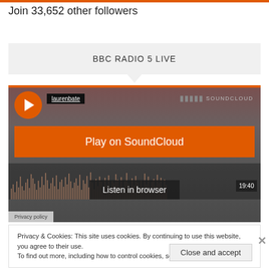Join 33,652 other followers
BBC RADIO 5 LIVE
[Figure (screenshot): SoundCloud embedded player widget showing laurenbate user profile, an orange 'Play on SoundCloud' button, a 'Listen in browser' button, waveform visualization, and a time display of 19:40. Privacy policy tab visible at bottom-left.]
Privacy & Cookies: This site uses cookies. By continuing to use this website, you agree to their use.
To find out more, including how to control cookies, see here: Cookie Policy
Close and accept